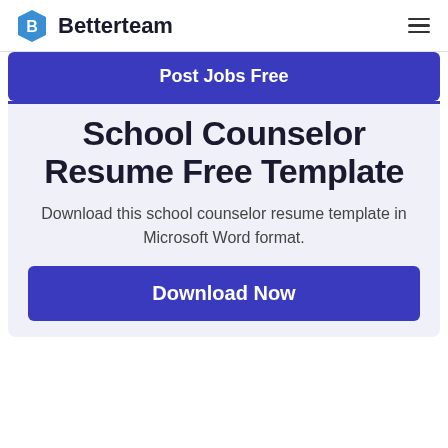Betterteam
Post Jobs Free
School Counselor Resume Free Template
Download this school counselor resume template in Microsoft Word format.
Download Now